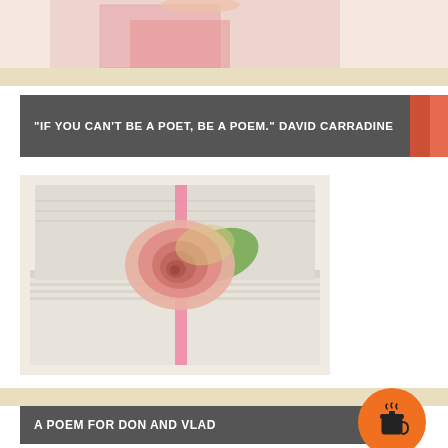[Figure (photo): Partial photo at top showing a child in pink checkered clothing with colorful cup/mug visible]
“IF YOU CAN’T BE A POET, BE A POEM.” DAVID CARRADINE
[Figure (photo): Photo of a pink rose resting on top of a white notebook/journal tied with a pink ribbon]
A POEM FOR DON AND VLAD